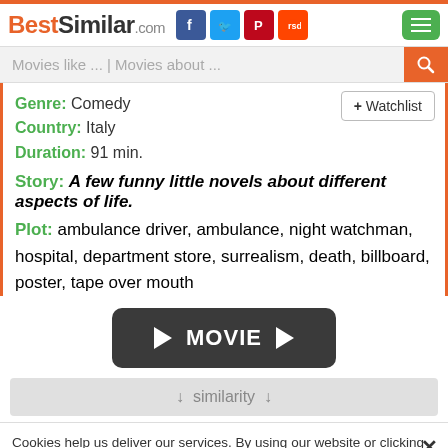BestSimilar.com
Movies like ... | Movies about ...
Genre: Comedy
Country: Italy
Duration: 91 min.
Story: A few funny little novels about different aspects of life.
Plot: ambulance driver, ambulance, night watchman, hospital, department store, surrealism, death, billboard, poster, tape over mouth
[Figure (other): Dark rounded rectangle button with play arrows and text MOVIE]
↓ similarity ↓
Cookies help us deliver our services. By using our website or clicking "Accept", you agree to our use of cookies as described in our Privacy Policy.
Preferences
Accept